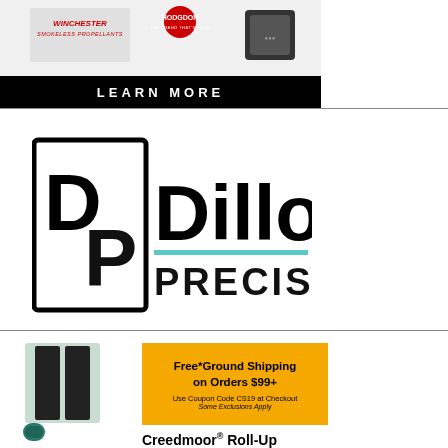[Figure (advertisement): Winchester Smokeless Propellants and Hodgdon 'The Brand That's True' advertisement banner with product image and black 'LEARN MORE' bar at the bottom]
[Figure (logo): Dillon Precision logo: square DP monogram with bold 'Dillon' text and 'PRECISION' below with a teal underline]
[Figure (advertisement): Creedmoor advertisement showing a roll-up product, orange banner with 'Free* Ground Shipping on Orders $99+' and coupon code CS19, and 'Creedmoor® Roll-Up' title text]